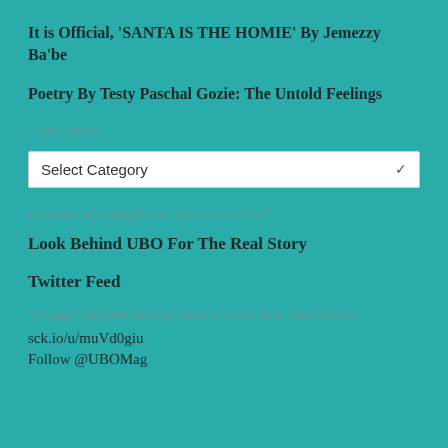It is Official, ‘SANTA IS THE HOMIE’ By Jemezzy Ba’be
Poetry By Testy Paschal Gozie: The Untold Feelings
Categories
Select Category
History of Founder & Editor-In-Chief
Look Behind UBO For The Real Story
Twitter Feed
Vlogger ini banyak bagi video2 keren deh, lihat disini!
sck.io/u/muVd0giu
Follow @UBOMag